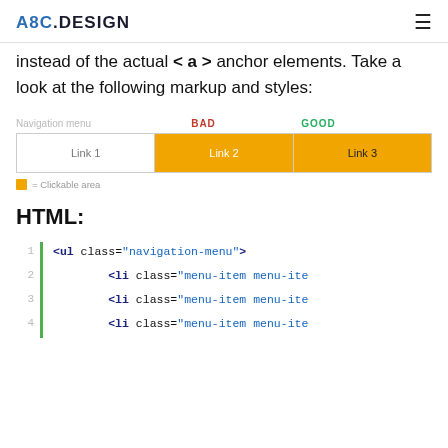A8C.DESIGN ☰
instead of the actual < a > anchor elements. Take a look at the following markup and styles:
[Figure (infographic): Navigation menu comparison diagram showing 'BAD' and 'GOOD' clickable areas. Three nav items: Link 1 (full white), Link 2 (small orange center on BAD column), Link 3 (full orange on GOOD column). Legend: orange square = Clickable area.]
HTML:
<ul class="navigation-menu">
    <li class="menu-item menu-ite
    <li class="menu-item menu-ite
    <li class="menu-item menu-ite